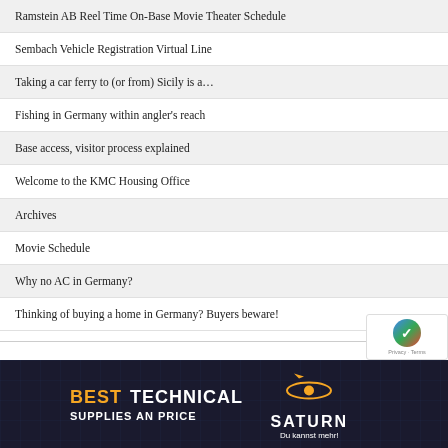Ramstein AB Reel Time On-Base Movie Theater Schedule
Sembach Vehicle Registration Virtual Line
Taking a car ferry to (or from) Sicily is a…
Fishing in Germany within angler's reach
Base access, visitor process explained
Welcome to the KMC Housing Office
Archives
Movie Schedule
Why no AC in Germany?
Thinking of buying a home in Germany? Buyers beware!
[Figure (other): Saturn electronics store advertisement banner showing 'BEST TECHNICAL' text with Saturn logo and tagline 'Du kannst mehr!']